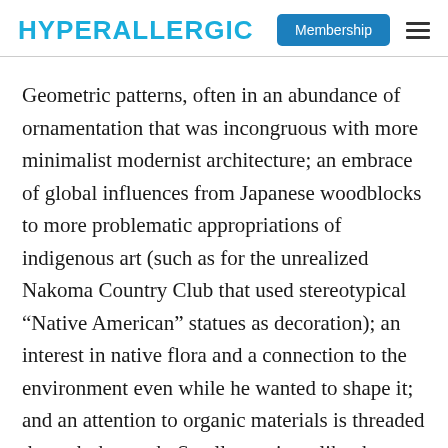HYPERALLERGIC | Membership
Geometric patterns, often in an abundance of ornamentation that was incongruous with more minimalist modernist architecture; an embrace of global influences from Japanese woodblocks to more problematic appropriations of indigenous art (such as for the unrealized Nakoma Country Club that used stereotypical “Native American” statues as decoration); an interest in native flora and a connection to the environment even while he wanted to shape it; and an attention to organic materials is threaded through the work. Smaller projects like the 1948